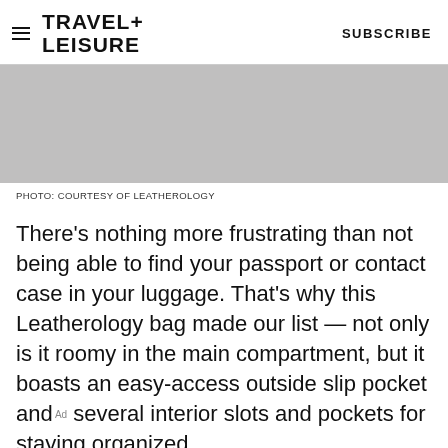TRAVEL+ LEISURE   SUBSCRIBE
[Figure (photo): Gray placeholder image of a Leatherology bag]
PHOTO: COURTESY OF LEATHEROLOGY
There's nothing more frustrating than not being able to find your passport or contact case in your luggage. That's why this Leatherology bag made our list — not only is it roomy in the main compartment, but it boasts an easy-access outside slip pocket and several interior slots and pockets for staying organized.